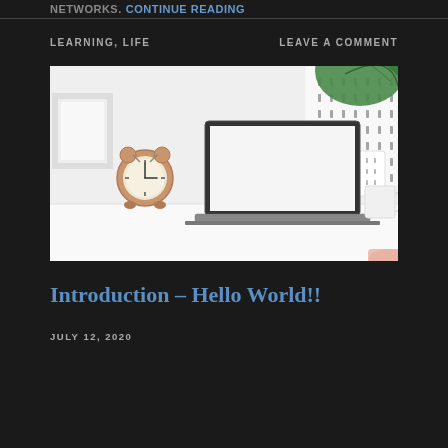NETWORKS. Continue reading
LEARNING, LIFE     LEAVE A COMMENT
[Figure (photo): A clean white desk scene featuring an open laptop with a blank white screen, a rose gold alarm clock showing approximately 10:10, a green tropical leaf plant in a white patterned pot in the upper right corner, a white mug on the right, and a framed picture on the left.]
Introduction – Hello World!!
JULY 12, 2020